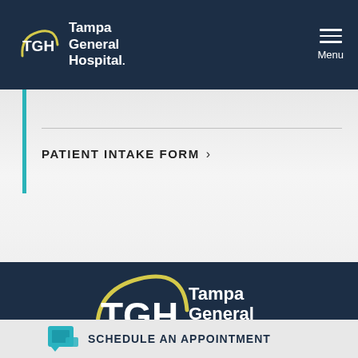[Figure (logo): TGH Tampa General Hospital logo in white on dark navy header bar with hamburger menu]
PATIENT INTAKE FORM >
[Figure (logo): TGH Tampa General Hospital large logo in white on dark navy background]
SCHEDULE AN APPOINTMENT